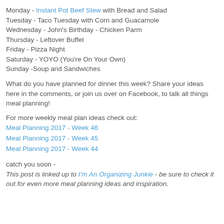Monday - Instant Pot Beef Stew with Bread and Salad
Tuesday - Taco Tuesday with Corn and Guacamole
Wednesday - John's Birthday - Chicken Parm
Thursday - Leftover Buffet
Friday - Pizza Night
Saturday - YOYO (You're On Your Own)
Sunday -Soup and Sandwiches
What do you have planned for dinner this week? Share your ideas here in the comments, or join us over on Facebook, to talk all things meal planning!
For more weekly meal plan ideas check out:
Meal Planning 2017 - Week 46
Meal Planning 2017 - Week 45
Meal Planning 2017 - Week 44
catch you soon -
This post is linked up to I'm An Organizing Junkie - be sure to check it out for even more meal planning ideas and inspiration.